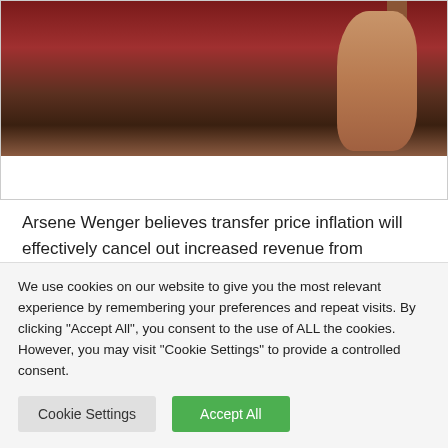[Figure (photo): Partial photo of a person's face against a dark red/brown background, showing the lower half of the face and neck area, cropped at top]
Arsene Wenger believes transfer price inflation will effectively cancel out increased revenue from television deals, hinting that players, not fans will benefit from the cash flowing into the modern game.
It's been widely reported that Premier League clubs will share
We use cookies on our website to give you the most relevant experience by remembering your preferences and repeat visits. By clicking "Accept All", you consent to the use of ALL the cookies. However, you may visit "Cookie Settings" to provide a controlled consent.